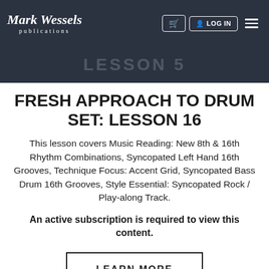Mark Wessels publications — LOG IN navigation
[Figure (screenshot): Dark navy navigation bar with Mark Wessels publications logo on left, cart button, LOG IN button, and hamburger menu on right. Below it a dark banner with faint LESSON 5 text.]
FRESH APPROACH TO DRUM SET: LESSON 16
This lesson covers Music Reading: New 8th & 16th Rhythm Combinations, Syncopated Left Hand 16th Grooves, Technique Focus: Accent Grid, Syncopated Bass Drum 16th Grooves, Style Essential: Syncopated Rock / Play-along Track.
An active subscription is required to view this content.
LEARN MORE